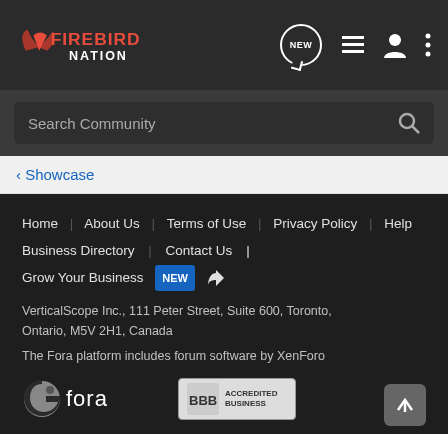Firebird Nation - header navigation bar with logo, NEW button, list icon, user icon, menu icon
Search Community
< Showcase
Home   About Us   Terms of Use   Privacy Policy   Help   Business Directory   Contact Us   |   Grow Your Business  NEW  (RSS icon)
VerticalScope Inc., 111 Peter Street, Suite 600, Toronto, Ontario, M5V 2H1, Canada
The Fora platform includes forum software by XenForo
[Figure (logo): Fora logo (circle icon + fora text) and BBB Accredited Business badge, plus back-to-top arrow button]